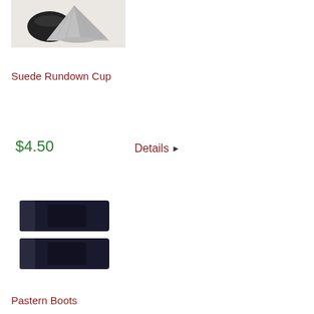[Figure (photo): Suede rundown cup product photo showing black and grey cone-shaped cups]
Suede Rundown Cup
$4.50
Details ▶
[Figure (photo): Pastern Boots product photo showing two black wrap-style boots]
Pastern Boots